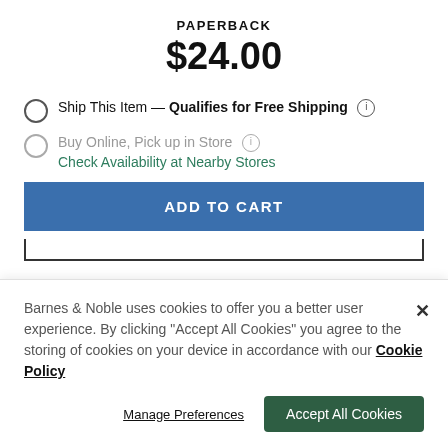PAPERBACK
$24.00
Ship This Item — Qualifies for Free Shipping
Buy Online, Pick up in Store
Check Availability at Nearby Stores
ADD TO CART
Barnes & Noble uses cookies to offer you a better user experience. By clicking "Accept All Cookies" you agree to the storing of cookies on your device in accordance with our Cookie Policy
Manage Preferences
Accept All Cookies